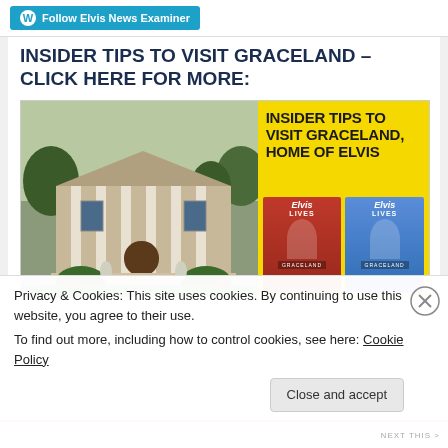Follow Elvis News Examiner
INSIDER TIPS TO VISIT GRACELAND – CLICK HERE FOR MORE:
[Figure (photo): Composite image showing Graceland mansion exterior on the left with white columns and stone facade, and on the right a yellow background with bold text 'INSIDER TIPS TO VISIT GRACELAND, HOME OF ELVIS' along with two Elvis Lives Graceland banners (one red, one blue) showing Elvis portrait]
Privacy & Cookies: This site uses cookies. By continuing to use this website, you agree to their use.
To find out more, including how to control cookies, see here: Cookie Policy
Close and accept